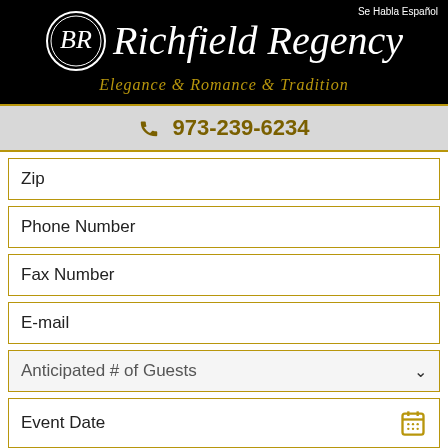[Figure (logo): Richfield Regency logo with BR emblem in oval, script text 'Richfield Regency', tagline 'Elegance & Romance & Tradition', on black background. Top right: 'Se Habla Español'. Phone bar below: 973-239-6234]
Zip
Phone Number
Fax Number
E-mail
Anticipated # of Guests
Event Date
Comments